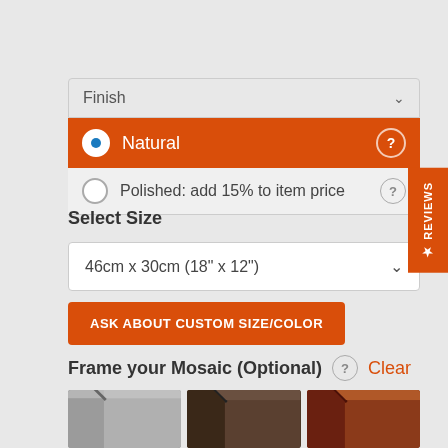Finish
Natural
Polished: add 15% to item price
Select Size
46cm x 30cm (18" x 12")
ASK ABOUT CUSTOM SIZE/COLOR
Frame your Mosaic (Optional)
Clear
[Figure (photo): Three frame corner samples: gray/silver wood frame, dark brown wood frame, and medium brown/reddish wood frame]
★ REVIEWS